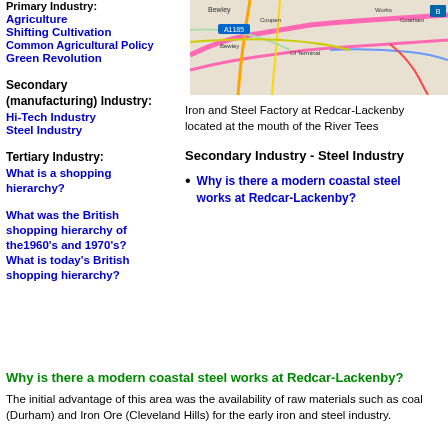Primary Industry:
Agriculture
Shifting Cultivation
Common Agricultural Policy
Green Revolution
[Figure (map): Street map showing Redcar-Lackenby area near the mouth of the River Tees, showing roads, terminal, works, and Coatham area]
Secondary (manufacturing) Industry:
Hi-Tech Industry
Steel Industry
Iron and Steel Factory at Redcar-Lackenby located at the mouth of the River Tees
Tertiary Industry:
What is a shopping hierarchy?
Secondary Industry - Steel Industry
Why is there a modern coastal steel works at Redcar-Lackenby?
What was the British shopping hierarchy of the1960's and 1970's? What is today's British shopping hierarchy?
Why is there a modern coastal steel works at Redcar-Lackenby?
The initial advantage of this area was the availability of raw materials such as coal (Durham) and Iron Ore (Cleveland Hills) for the early iron and steel industry.